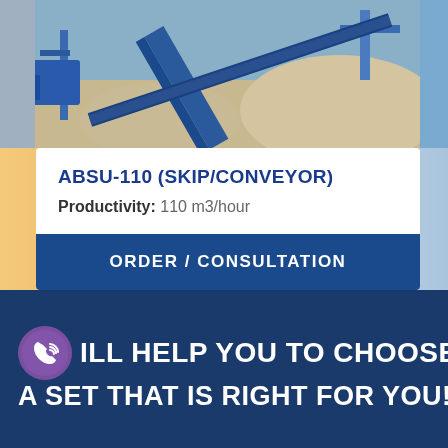[Figure (photo): Industrial concrete batching plant with blue conveyor/skip loader and piles of aggregate materials]
ABSU-110 (SKIP/CONVEYOR)
Productivity: 110 m3/hour
ORDER / CONSULTATION
ILL HELP YOU TO CHOOSE A SET THAT IS RIGHT FOR YOU!